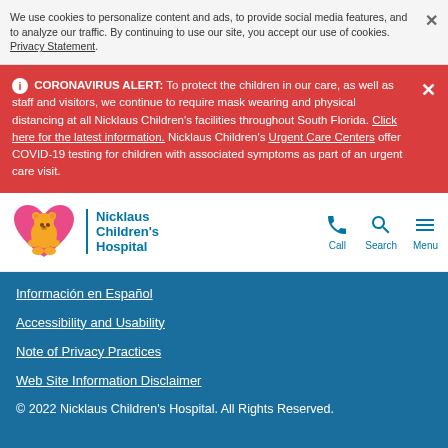We use cookies to personalize content and ads, to provide social media features, and to analyze our traffic. By continuing to use our site, you accept our use of cookies. Privacy Statement.
ⓘ CORONAVIRUS ALERT: To protect the children in our care, as well as staff and visitors, we continue to require mask wearing and physical distancing at all Nicklaus Children's facilities throughout South Florida. Click here for the latest information. Nicklaus Children's Urgent Care Centers offer COVID-19 testing for children with associated symptoms as part of an urgent care visit.
[Figure (logo): Nicklaus Children's Hospital logo with pink heart and yellow bear]
Información en Español
Accessibility and Usability
Note of Privacy Practices
Web Site Information Disclaimer
© 2022 Nicklaus Children's Hospital. All Rights Reserved.